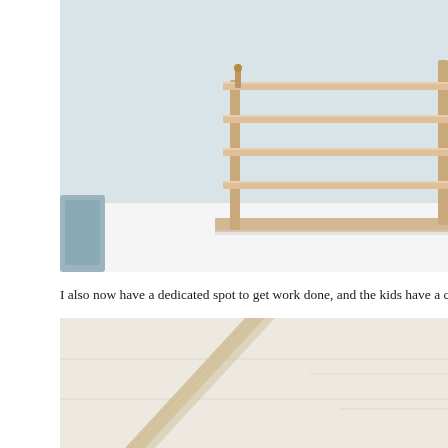[Figure (photo): A wooden desk organizer/shelf unit with multiple horizontal tiers, sitting on a white desk surface. A blue chair is partially visible on the left. The background wall is a light blue-grey color.]
I also now have a dedicated spot to get work done, and the kids have a craft
[Figure (photo): Close-up of a wooden furniture piece, likely a desk or easel leg, against a light cream/off-white surface. The wood appears to be light natural pine or birch.]